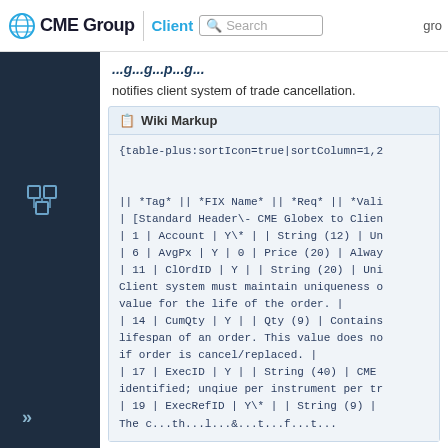CME Group | Client | Search | gro
notifies client system of trade cancellation.
Wiki Markup
{table-plus:sortIcon=true|sortColumn=1,2


|| *Tag* || *FIX Name* || *Req* || *Vali
| [Standard Header\- CME Globex to Clien
| 1 | Account | Y\* | | String (12) | Un
| 6 | AvgPx | Y | 0 | Price (20) | Alway
| 11 | ClOrdID | Y | | String (20) | Uni
Client system must maintain uniqueness o
value for the life of the order. |
| 14 | CumQty | Y | | Qty (9) | Contains
lifespan of an order. This value does no
if order is cancel/replaced. |
| 17 | ExecID | Y | | String (40) | CME 
identified; unqiue per instrument per tr
| 19 | ExecRefID | Y\* | | String (9) |
The c...th...l...&...t...f...t...